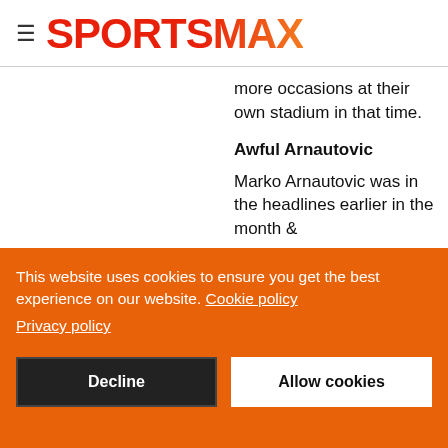SPORTSMAX
more occasions at their own stadium in that time.
Awful Arnautovic
Marko Arnautovic was in the headlines earlier in the month &
This website uses cookies to ensure you get the best experience on our website. Cookie policy Privacy policy
Decline
Allow cookies